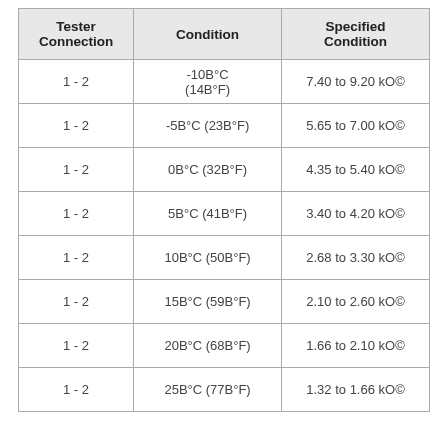| Tester Connection | Condition | Specified Condition |
| --- | --- | --- |
| 1 - 2 | -10B°C (14B°F) | 7.40 to 9.20 kO© |
| 1 - 2 | -5B°C (23B°F) | 5.65 to 7.00 kO© |
| 1 - 2 | 0B°C (32B°F) | 4.35 to 5.40 kO© |
| 1 - 2 | 5B°C (41B°F) | 3.40 to 4.20 kO© |
| 1 - 2 | 10B°C (50B°F) | 2.68 to 3.30 kO© |
| 1 - 2 | 15B°C (59B°F) | 2.10 to 2.60 kO© |
| 1 - 2 | 20B°C (68B°F) | 1.66 to 2.10 kO© |
| 1 - 2 | 25B°C (77B°F) | 1.32 to 1.66 kO© |